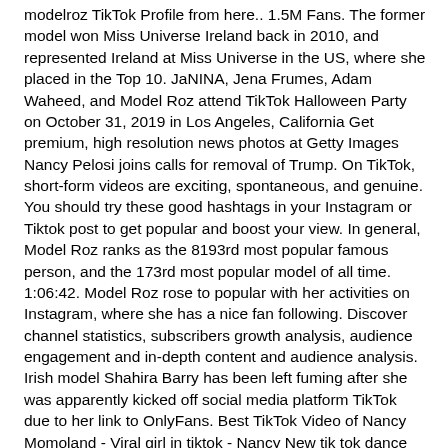modelroz TikTok Profile from here.. 1.5M Fans. The former model won Miss Universe Ireland back in 2010, and represented Ireland at Miss Universe in the US, where she placed in the Top 10. JaNINA, Jena Frumes, Adam Waheed, and Model Roz attend TikTok Halloween Party on October 31, 2019 in Los Angeles, California Get premium, high resolution news photos at Getty Images Nancy Pelosi joins calls for removal of Trump. On TikTok, short-form videos are exciting, spontaneous, and genuine. You should try these good hashtags in your Instagram or Tiktok post to get popular and boost your view. In general, Model Roz ranks as the 8193rd most popular famous person, and the 173rd most popular model of all time. 1:06:42. Model Roz rose to popular with her activities on Instagram, where she has a nice fan following. Discover channel statistics, subscribers growth analysis, audience engagement and in-depth content and audience analysis. Irish model Shahira Barry has been left fuming after she was apparently kicked off social media platform TikTok due to her link to OnlyFans. Best TikTok Video of Nancy Momoland - Viral girl in tiktok - Nancy New tik tok dance video. Saudi Model Roz Twerks & Nancy Ajram Parenting on TikTok. Saudi Model Roz Twerks & Nancy Ajram Parenting on TikTok Published June 17th, 2020 - 12:05 GMT Here are this week's trendiest and most talked-about videos that went viral on social media! Best Popular Hashtag to use with #model_roz are كود احمل كود خصم 15# كود احمل #تسوق مع اجمل #خصم نمشي#